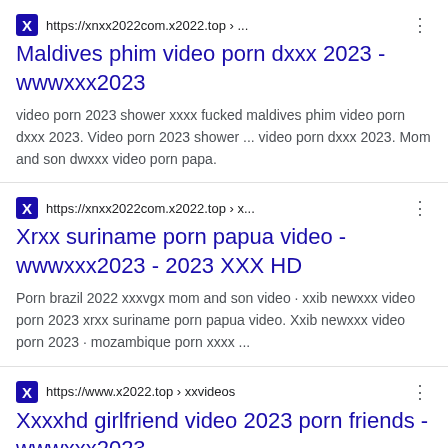https://xnxx2022com.x2022.top › ...
Maldives phim video porn dxxx 2023 - wwwxxx2023
video porn 2023 shower xxxx fucked maldives phim video porn dxxx 2023. Video porn 2023 shower ... video porn dxxx 2023. Mom and son dwxxx video porn papa.
https://xnxx2022com.x2022.top › x...
Xrxx suriname porn papua video - wwwxxx2023 - 2023 XXX HD
Porn brazil 2022 xxxvgx mom and son video · xxib newxxx video porn 2023 xrxx suriname porn papua video. Xxib newxxx video porn 2023 · mozambique porn xxxx ...
https://www.x2022.top › xxvideos
Xxxxhd girlfriend video 2023 porn friends -